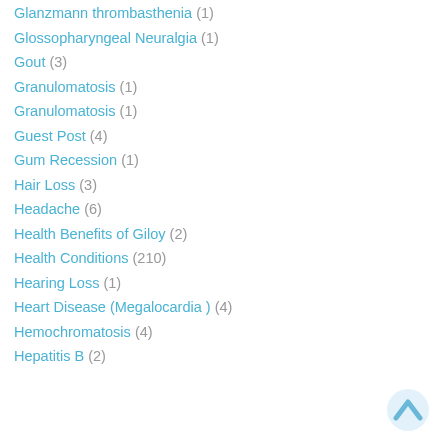Glanzmann thrombasthenia (1)
Glossopharyngeal Neuralgia (1)
Gout (3)
Granulomatosis (1)
Granulomatosis (1)
Guest Post (4)
Gum Recession (1)
Hair Loss (3)
Headache (6)
Health Benefits of Giloy (2)
Health Conditions (210)
Hearing Loss (1)
Heart Disease (Megalocardia ) (4)
Hemochromatosis (4)
Hepatitis B (2)